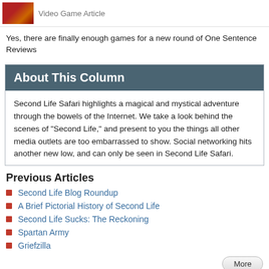Video Game Article
Yes, there are finally enough games for a new round of One Sentence Reviews
About This Column
Second Life Safari highlights a magical and mystical adventure through the bowels of the Internet. We take a look behind the scenes of "Second Life," and present to you the things all other media outlets are too embarrassed to show. Social networking hits another new low, and can only be seen in Second Life Safari.
Previous Articles
Second Life Blog Roundup
A Brief Pictorial History of Second Life
Second Life Sucks: The Reckoning
Spartan Army
Griefzilla
Suggested Articles
GG ELECTION COVERAGE '08 day three
Warm Foot (Thanks, MonkeyforaHead!)
Gaming Guyz 2
Best of The Weekend Web volume 8